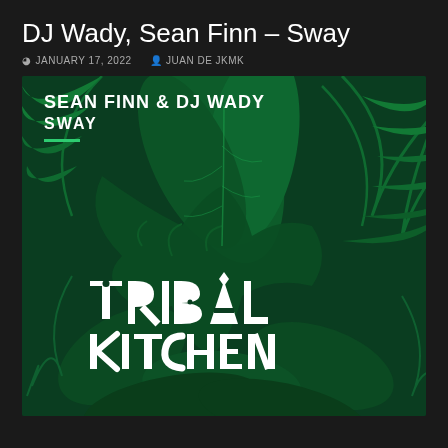DJ Wady, Sean Finn – Sway
JANUARY 17, 2022  JUAN DE JKMK
[Figure (illustration): Album art for 'Sway' by Sean Finn & DJ Wady on Tribal Kitchen label. Dark green background with tropical leaves. Text overlay: SEAN FINN & DJ WADY / SWAY in white bold uppercase at top left, with a short green underline. Large white logo text 'TRIBAL KITCHEN' centered lower portion of image.]